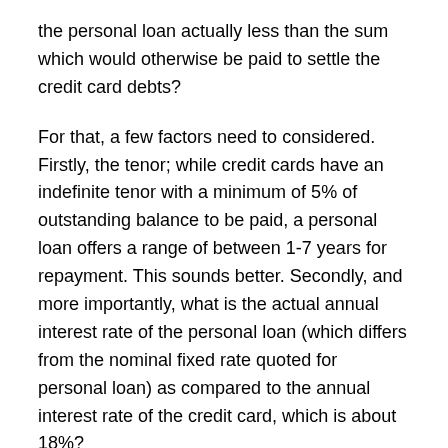the personal loan actually less than the sum which would otherwise be paid to settle the credit card debts?
For that, a few factors need to considered. Firstly, the tenor; while credit cards have an indefinite tenor with a minimum of 5% of outstanding balance to be paid, a personal loan offers a range of between 1-7 years for repayment. This sounds better. Secondly, and more importantly, what is the actual annual interest rate of the personal loan (which differs from the nominal fixed rate quoted for personal loan) as compared to the annual interest rate of the credit card, which is about 18%?
The nominal fixed interest rate that are usually quoted for personal loans (which ranges from 7.5% to 12%) is